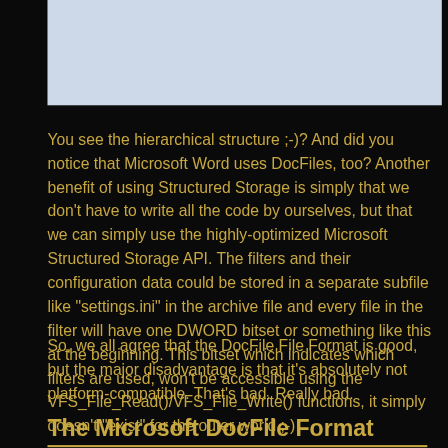[Figure (illustration): Light blue rectangular image area at the top right of the page, appears to be a diagram or screenshot with a light blue/grey background]
You see the hierarchical structure ;-)? And did you notice that Microsoft Word uses DocFiles, too? Another benefit of using Structured Storage is simply that we don't have to write all the code by ourselves, but that we can simply use the highly-optimized Microsoft Structured Storage API. The filters and their configuration data could be stored in a separate subfile like "settings.ini" in the archive file and every file in the filter will have one DWORD bitset or something like this at the beginning. This bitset which indicates which filters are used, won't be accessible using the VFS_File_Read()/VFS_File_Write() functions, it simply doesn't "exist" for the outer world ;-)
So, we all agree that the DocFile File Format is good, but the major disadvantage is that it's absolutely not platform-compatible. That's bad. Really bad.
The Microsoft DocFile Format